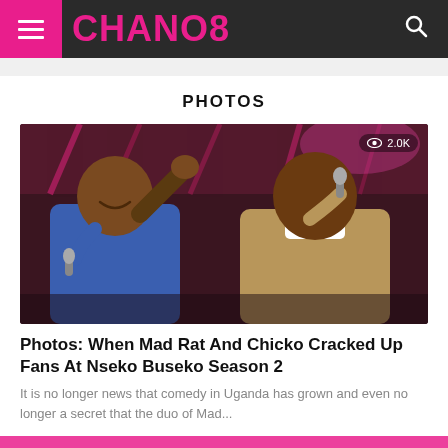CHANO8
PHOTOS
[Figure (photo): Two men performing on stage with microphones under pink/purple stage lighting. Left man in blue suit holds microphone, right man in tan/beige jacket holds microphone and wears bow tie.]
Photos: When Mad Rat And Chicko Cracked Up Fans At Nseko Buseko Season 2
It is no longer news that comedy in Uganda has grown and even no longer a secret that the duo of Mad...